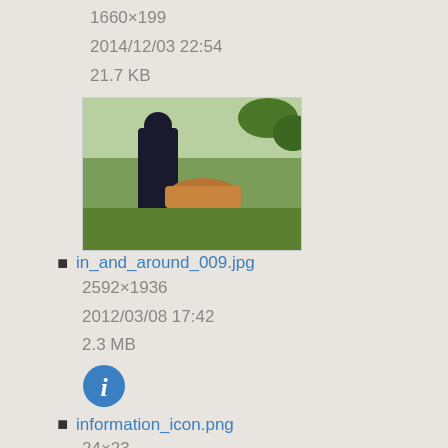1660×199
2014/12/03 22:54
21.7 KB
[Figure (photo): Thumbnail of in_and_around_009.jpg showing a person outdoors with a copper/bronze bowl or basin on green grass]
in_and_around_009.jpg
2592×1936
2012/03/08 17:42
2.3 MB
[Figure (illustration): Information icon - blue circle with white italic i]
information_icon.png
24×23
2013/09/19 19:15
1.1 KB
[Figure (screenshot): Thumbnail of invoicehistory.png showing a screenshot of an invoice history web page]
invoicehistory.png
1253×561
2013/06/05 23:05